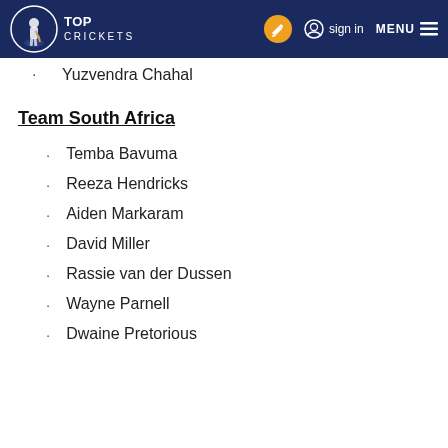TOP CRICKETS
Yuzvendra Chahal
Team South Africa
Temba Bavuma
Reeza Hendricks
Aiden Markaram
David Miller
Rassie van der Dussen
Wayne Parnell
Dwaine Pretorious